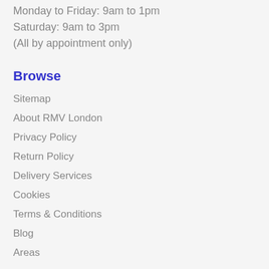Monday to Friday: 9am to 1pm
Saturday: 9am to 3pm
(All by appointment only)
Browse
Sitemap
About RMV London
Privacy Policy
Return Policy
Delivery Services
Cookies
Terms & Conditions
Blog
Areas
Follow us